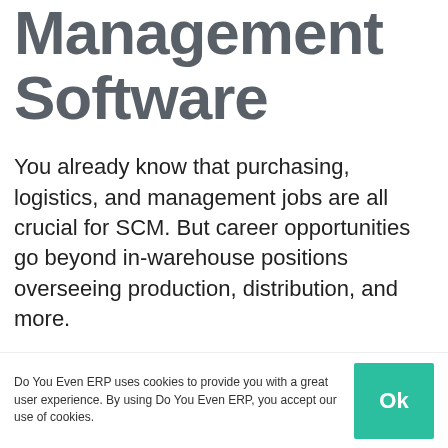Management Software
You already know that purchasing, logistics, and management jobs are all crucial for SCM. But career opportunities go beyond in-warehouse positions overseeing production, distribution, and more.
Because all those traditional professions rely on SCM software. And SCM software needs in turn
Do You Even ERP uses cookies to provide you with a great user experience. By using Do You Even ERP, you accept our use of cookies.